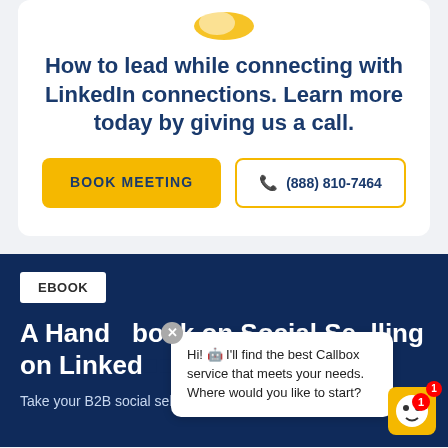[Figure (logo): Partial logo image at top of card]
How to lead while connecting with LinkedIn connections. Learn more today by giving us a call.
BOOK MEETING
(888) 810-7464
EBOOK
A Handbook on Social Selling on LinkedIn
Take your B2B social selling skills a step further with the
Hi! 🤖 I'll find the best Callbox service that meets your needs. Where would you like to start?